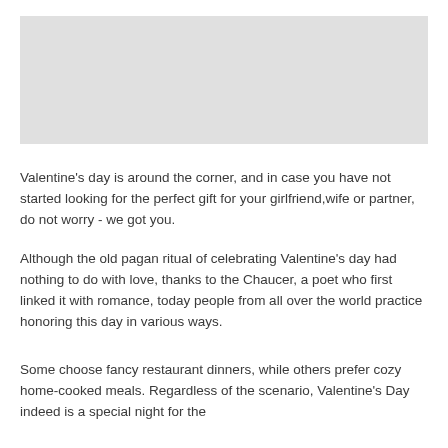[Figure (photo): Light gray placeholder image area at the top of the page]
Valentine's day is around the corner, and in case you have not started looking for the perfect gift for your girlfriend,wife or partner, do not worry - we got you.
Although the old pagan ritual of celebrating Valentine's day had nothing to do with love, thanks to the Chaucer, a poet who first linked it with romance, today people from all over the world practice honoring this day in various ways.
Some choose fancy restaurant dinners, while others prefer cozy home-cooked meals. Regardless of the scenario, Valentine's Day indeed is a special night for the